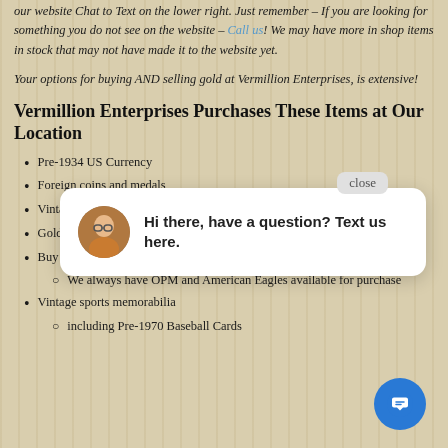our website Chat to Text on the lower right. Just remember – If you are looking for something you do not see on the website – Call us! We may have more in shop items in stock that may not have made it to the website yet.
Your options for buying AND selling gold at Vermillion Enterprises, is extensive!
Vermillion Enterprises Purchases These Items at Our Location
Pre-1934 US Currency
Foreign coins and medals
Vintage and old decimal coins
Gold, silver, and plated pocket watches
Buy and Sell Gold, Silver, and Platinum Bullion
We always have OPM and American Eagles available for purchase
Vintage sports memorabilia
including Pre-1970 Baseball Cards